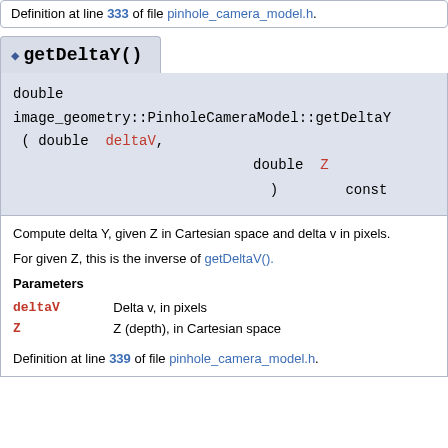Definition at line 333 of file pinhole_camera_model.h.
getDeltaY()
double image_geometry::PinholeCameraModel::getDeltaY ( double deltaV, double Z ) const
Compute delta Y, given Z in Cartesian space and delta v in pixels.
For given Z, this is the inverse of getDeltaV().
Parameters
deltaV   Delta v, in pixels
Z   Z (depth), in Cartesian space
Definition at line 339 of file pinhole_camera_model.h.